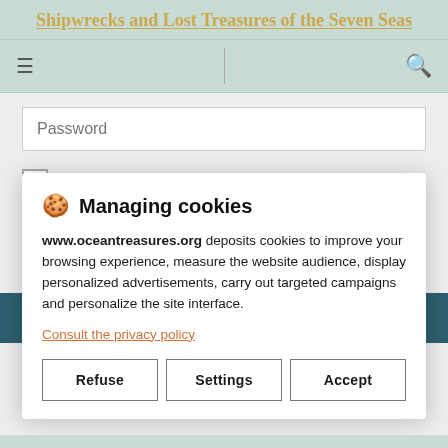Shipwrecks and Lost Treasures of the Seven Seas
Password
Remember me
Cr
🍪 Managing cookies
www.oceantreasures.org deposits cookies to improve your browsing experience, measure the website audience, display personalized advertisements, carry out targeted campaigns and personalize the site interface.
Consult the privacy policy
Refuse
Settings
Accept